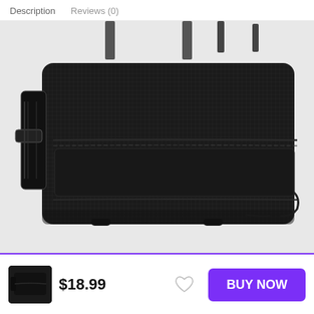Description    Reviews (0)
[Figure (photo): Black nylon/fabric phone holster case with belt clip, shown in landscape orientation. The case has a textured nylon fabric exterior with stitched seams and a black plastic belt clip on the left side. A shoulder strap is visible at the top.]
[Figure (photo): Small thumbnail of the same black phone holster case product]
$18.99
BUY NOW